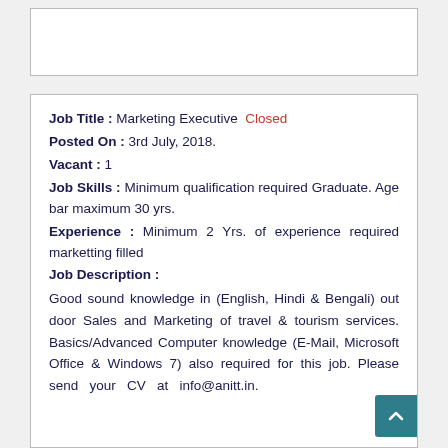[Figure (other): Empty white box with border at top of page]
Job Title : Marketing Executive Closed
Posted On : 3rd July, 2018.
Vacant : 1
Job Skills : Minimum qualification required Graduate. Age bar maximum 30 yrs.
Experience : Minimum 2 Yrs. of experience required marketting filled
Job Description :
Good sound knowledge in (English, Hindi & Bengali) out door Sales and Marketing of travel & tourism services. Basics/Advanced Computer knowledge (E-Mail, Microsoft Office & Windows 7) also required for this job. Please send your CV at info@anitt.in.